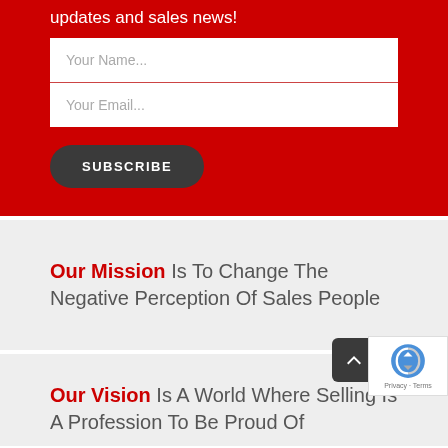updates and sales news!
Your Name...
Your Email...
SUBSCRIBE
Our Mission Is To Change The Negative Perception Of Sales People
Our Vision Is A World Where Selling Is A Profession To Be Proud Of